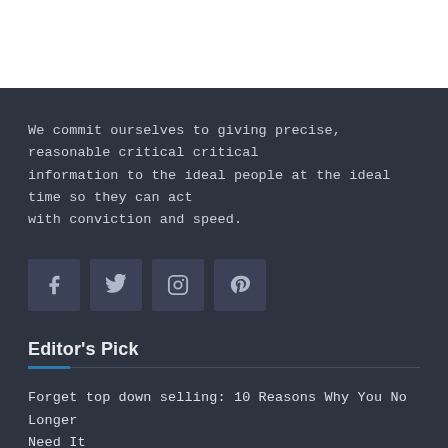We commit ourselves to giving precise, reasonable critical information to the ideal people at the ideal time so they can act with conviction and speed.
[Figure (other): Four social media icon buttons: Facebook, Twitter, Instagram, Pinterest]
Editor's Pick
Forget top down selling: 10 Reasons Why You No Longer Need It